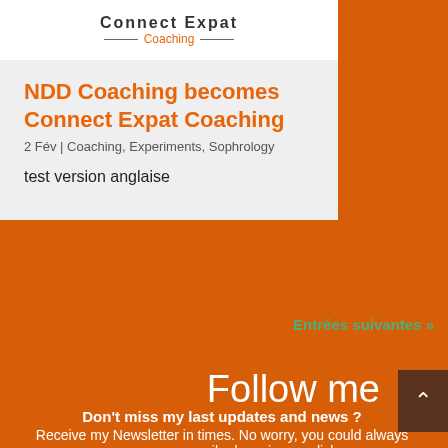[Figure (logo): Connect Expat Coaching logo with decorative lines and orange subtitle text]
NDD Coaching becomes Connect Expat Coaching
2 Fév | Coaching, Experiments, Sophrology
test version anglaise
Entrées suivantes »
Follow me
Don't miss my last updates and news ?
Receive my Newsletter in times. No worry, you could always remove your email adress in one click.